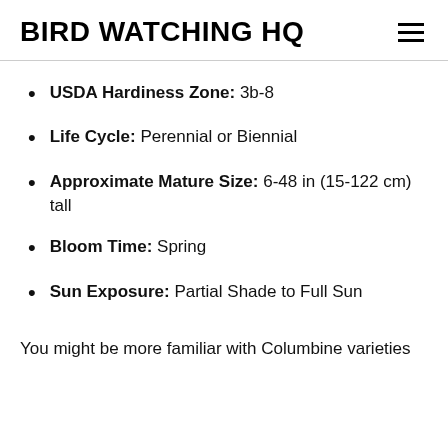BIRD WATCHING HQ
USDA Hardiness Zone: 3b-8
Life Cycle: Perennial or Biennial
Approximate Mature Size: 6-48 in (15-122 cm) tall
Bloom Time: Spring
Sun Exposure: Partial Shade to Full Sun
You might be more familiar with Columbine varieties